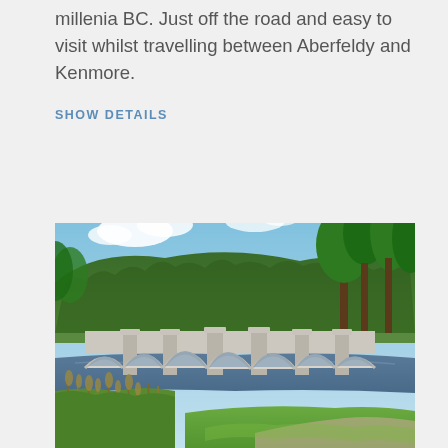millenia BC. Just off the road and easy to visit whilst travelling between Aberfeldy and Kenmore.
SHOW DETAILS
[Figure (photo): Photograph of a historic stone arch bridge with multiple arches spanning a river, surrounded by lush green trees and a wooded hillside in the background under a partly cloudy blue sky. A grassy riverbank path is visible in the foreground.]